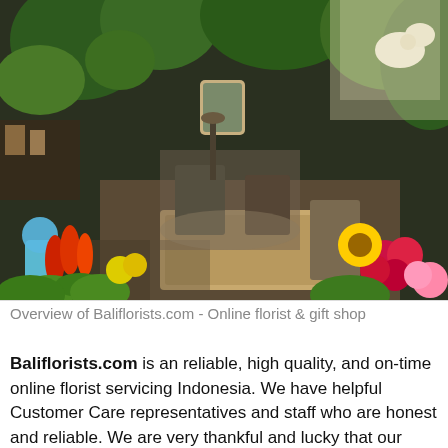[Figure (photo): Interior of a flower shop with abundant colorful floral arrangements including red tulips, yellow sunflowers, pink roses, and various green plants. Tables and chairs are visible in the background surrounded by lush plant displays.]
Overview of Baliflorists.com - Online florist & gift shop
Baliflorists.com is an reliable, high quality, and on-time online florist servicing Indonesia. We have helpful Customer Care representatives and staff who are honest and reliable. We are very thankful and lucky that our business has experienced continual success of steady and fast growth since